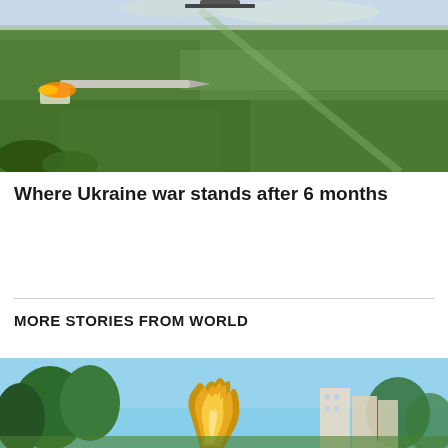[Figure (photo): Aerial view from a drone or missile launch, showing green countryside fields below and rocket/missile firing visible on the left side of frame]
Where Ukraine war stands after 6 months
MORE STORIES FROM WORLD
[Figure (photo): Golden flame sculpture outdoors against a blue sky, with trees and Parisian-style buildings visible in background]